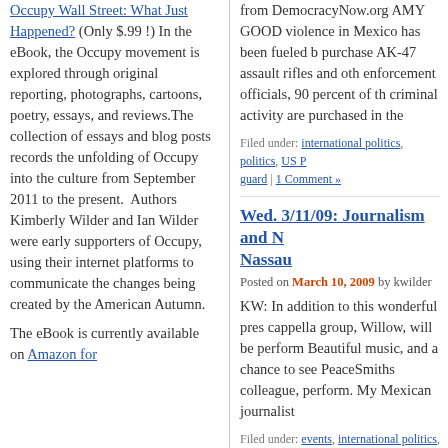Occupy Wall Street: What Just Happened? (Only $.99 !) In the eBook, the Occupy movement is explored through original reporting, photographs, cartoons, poetry, essays, and reviews.The collection of essays and blog posts records the unfolding of Occupy into the culture from September 2011 to the present. Authors Kimberly Wilder and Ian Wilder were early supporters of Occupy, using their internet platforms to communicate the changes being created by the American Autumn.
The eBook is currently available on Amazon for
from DemocracyNow.org AMY GOOD violence in Mexico has been fueled b purchase AK-47 assault rifles and oth enforcement officials, 90 percent of th criminal activity are purchased in the
Filed under: international politics, politics, US P guard | 1 Comment »
Wed. 3/11/09: Journalism and Nassau
Posted on March 10, 2009 by kwilder
KW: In addition to this wonderful pres cappella group, Willow, will be perform Beautiful music, and a chance to see PeaceSmiths colleague, perform. My Mexican journalist
Filed under: events, international politics, local, Politics, politics | Tagged: a cappella, Human Ri island, Lydia Cacho, Manhasset, Mexico, music Leave a Comment »